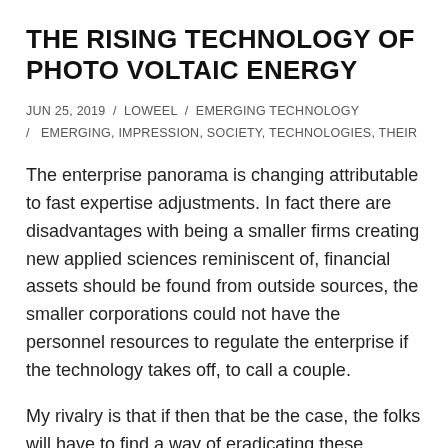THE RISING TECHNOLOGY OF PHOTO VOLTAIC ENERGY
JUN 25, 2019  /  LOWEEL  /  EMERGING TECHNOLOGY / EMERGING, IMPRESSION, SOCIETY, TECHNOLOGIES, THEIR
The enterprise panorama is changing attributable to fast expertise adjustments. In fact there are disadvantages with being a smaller firms creating new applied sciences reminiscent of, financial assets should be found from outside sources, the smaller corporations could not have the personnel resources to regulate the enterprise if the technology takes off, to call a couple.
My rivalry is that if then that be the case, the folks will have to find a way of eradicating these cronies from energy and replacing them with legit leaders appointed by and accountable to the people who put them in energy-throughout the construction of the...